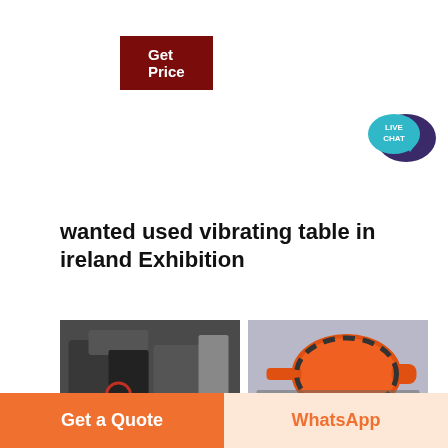[Figure (other): Dark red 'Get Price' button in top left]
[Figure (other): Live Chat speech bubble icon in top right corner, teal and dark purple colors]
wanted used vibrating table in ireland Exhibition
[Figure (photo): Industrial crusher/jaw crusher machine in factory setting, gray, with ACrusher logo badge]
[Figure (photo): Orange ball mill machine in factory setting, with ACrusher logo badge]
[Figure (photo): Cone crusher or vertical mill machine, partly visible, with red and white stripes]
[Figure (photo): Industrial silo or vertical mill machine, gray, partly visible]
[Figure (other): Bottom bar with 'Get a Quote' orange button on left and 'WhatsApp' button on peach background on right]